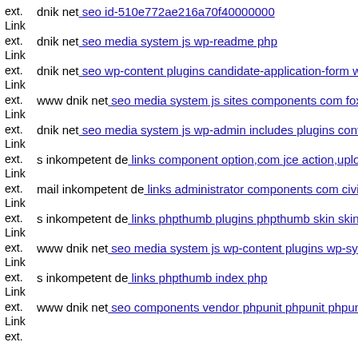ext. Link dnik net: seo id-510e772ae216a70f40000000
ext. Link dnik net: seo media system js wp-readme php
ext. Link dnik net: seo wp-content plugins candidate-application-form w
ext. Link www dnik net: seo media system js sites components com foxco
ext. Link dnik net: seo media system js wp-admin includes plugins conte
ext. Link s inkompetent de: links component option,com jce action,uploa
ext. Link mail inkompetent de: links administrator components com civi
ext. Link s inkompetent de: links phpthumb plugins phpthumb skin skinm
ext. Link www dnik net: seo media system js wp-content plugins wp-sym
ext. Link s inkompetent de: links phpthumb index php
ext. Link www dnik net: seo components vendor phpunit phpunit phpuni